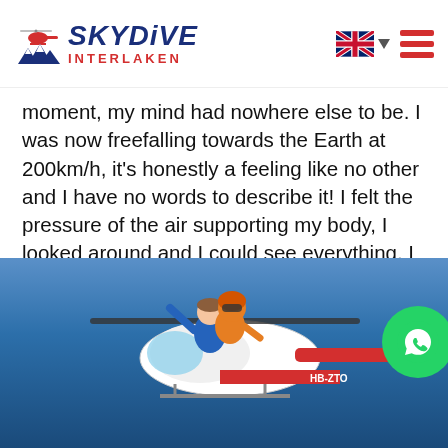Skydive Interlaken
moment, my mind had nowhere else to be. I was now freefalling towards the Earth at 200km/h, it's honestly a feeling like no other and I have no words to describe it! I felt the pressure of the air supporting my body, I looked around and I could see everything, I was completely free!
[Figure (photo): Two skydivers in orange and blue jumpsuits celebrating next to a red and white helicopter (registration HB-ZTO) against a clear blue sky. The person in front has arms raised in excitement.]